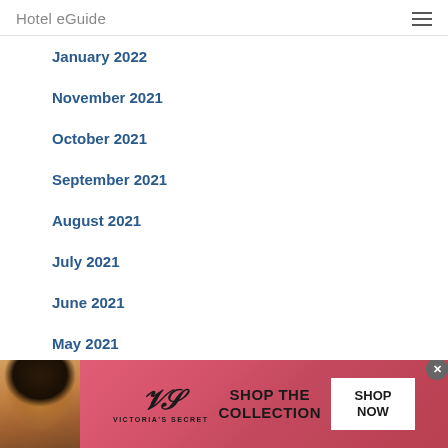Hotel eGuide
January 2022
November 2021
October 2021
September 2021
August 2021
July 2021
June 2021
May 2021
[Figure (advertisement): Victoria's Secret advertisement banner with pink gradient background, model photo on left, Victoria's Secret logo, 'SHOP THE COLLECTION' text, and 'SHOP NOW' button]